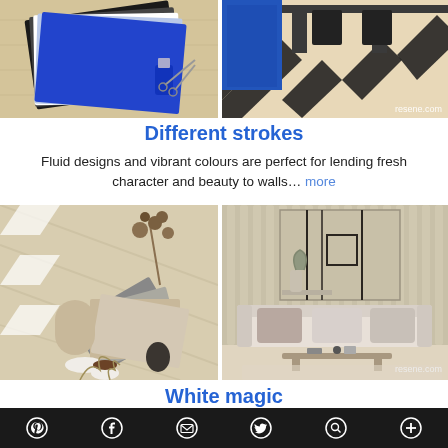[Figure (photo): Color swatches and paint samples in blue and grey tones on wooden surface]
[Figure (photo): Interior room with blue cabinet and striped black and white floor, resene.com watermark]
Different strokes
Fluid designs and vibrant colours are perfect for lending fresh character and beauty to walls… more
[Figure (photo): Flat lay of neutral paint colour swatches with decorative objects on wood surface]
[Figure (photo): Neutral toned living room with sofa, coffee table and wall art panel, resene.com watermark]
White magic
Social media icons row: Pinterest, Facebook, Email, Twitter, Search, Plus